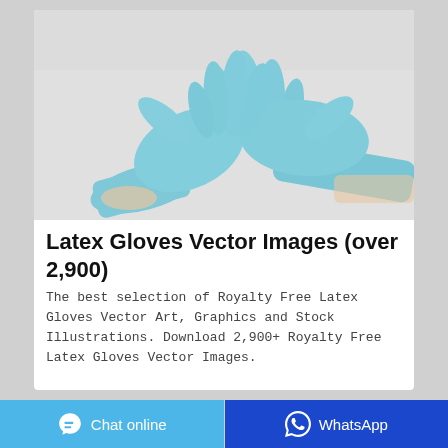[Figure (photo): Two hands wearing light blue latex/nitrile gloves, photographed from above against a light gray surface. The gloves are a medical/examination style.]
Latex Gloves Vector Images (over 2,900)
The best selection of Royalty Free Latex Gloves Vector Art, Graphics and Stock Illustrations. Download 2,900+ Royalty Free Latex Gloves Vector Images.
Chat online   WhatsApp